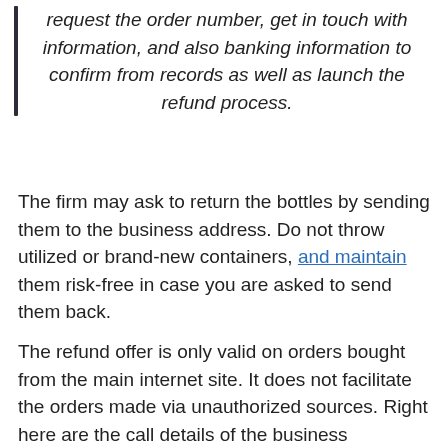request the order number, get in touch with information, and also banking information to confirm from records as well as launch the refund process.
The firm may ask to return the bottles by sending them to the business address. Do not throw utilized or brand-new containers, and maintain them risk-free in case you are asked to send them back.
The refund offer is only valid on orders bought from the main internet site. It does not facilitate the orders made via unauthorized sources. Right here are the call details of the business leanbiome antioch california.